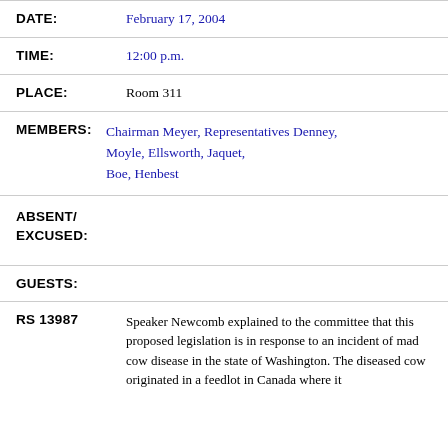DATE: February 17, 2004
TIME: 12:00 p.m.
PLACE: Room 311
MEMBERS: Chairman Meyer, Representatives Denney, Moyle, Ellsworth, Jaquet, Boe, Henbest
ABSENT/EXCUSED:
GUESTS:
RS 13987 Speaker Newcomb explained to the committee that this proposed legislation is in response to an incident of mad cow disease in the state of Washington. The diseased cow originated in a feedlot in Canada where it